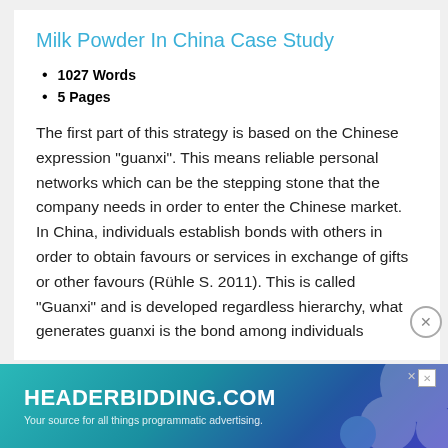Milk Powder In China Case Study
1027 Words
5 Pages
The first part of this strategy is based on the Chinese expression "guanxi". This means reliable personal networks which can be the stepping stone that the company needs in order to enter the Chinese market. In China, individuals establish bonds with others in order to obtain favours or services in exchange of gifts or other favours (Rühle S. 2011). This is called "Guanxi" and is developed regardless hierarchy, what generates guanxi is the bond among individuals
[Figure (other): Advertisement banner for headerbidding.com — 'Your source for all things programmatic advertising.']